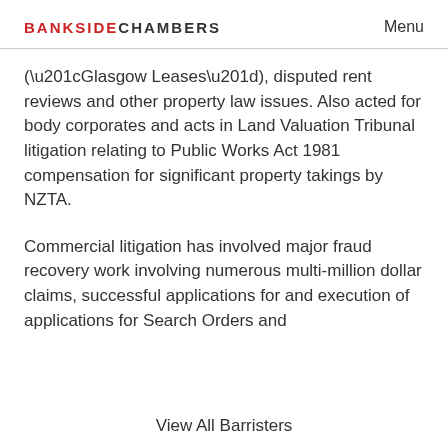BANKSIDE CHAMBERS   Menu
(“Glasgow Leases”), disputed rent reviews and other property law issues. Also acted for body corporates and acts in Land Valuation Tribunal litigation relating to Public Works Act 1981 compensation for significant property takings by NZTA.
Commercial litigation has involved major fraud recovery work involving numerous multi-million dollar claims, successful applications for and execution of applications for Search Orders and
View All Barristers